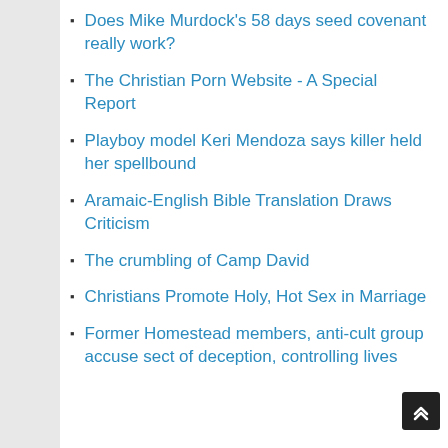Does Mike Murdock's 58 days seed covenant really work?
The Christian Porn Website - A Special Report
Playboy model Keri Mendoza says killer held her spellbound
Aramaic-English Bible Translation Draws Criticism
The crumbling of Camp David
Christians Promote Holy, Hot Sex in Marriage
Former Homestead members, anti-cult group accuse sect of deception, controlling lives